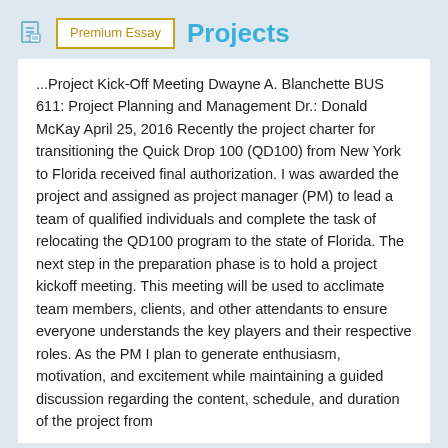Premium Essay   Projects
...Project Kick-Off Meeting Dwayne A. Blanchette BUS 611: Project Planning and Management Dr.: Donald McKay April 25, 2016 Recently the project charter for transitioning the Quick Drop 100 (QD100) from New York to Florida received final authorization. I was awarded the project and assigned as project manager (PM) to lead a team of qualified individuals and complete the task of relocating the QD100 program to the state of Florida. The next step in the preparation phase is to hold a project kickoff meeting. This meeting will be used to acclimate team members, clients, and other attendants to ensure everyone understands the key players and their respective roles. As the PM I plan to generate enthusiasm, motivation, and excitement while maintaining a guided discussion regarding the content, schedule, and duration of the project from